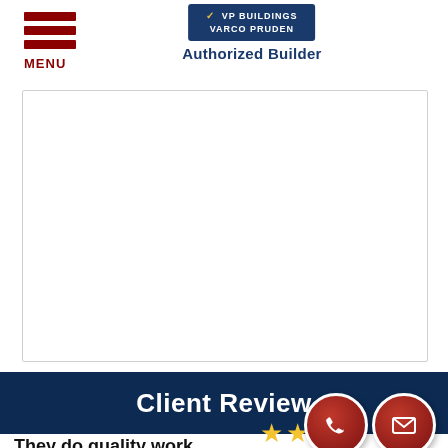MENU | VP Buildings Varco Pruden Authorized Builder
[Figure (illustration): Large white content box with border, likely containing a photo or map that is blank/not loaded]
Client Review
They do quality work.
[Figure (illustration): Two dark red circular icons (phone and mail/envelope) and gold star ratings]